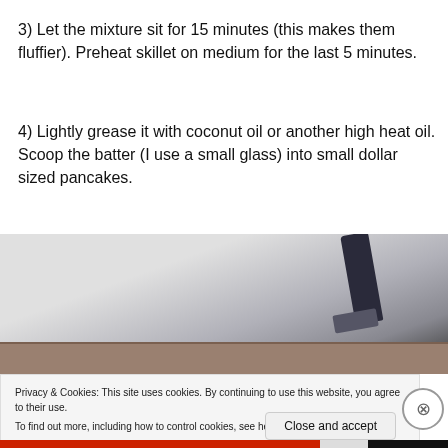3) Let the mixture sit for 15 minutes (this makes them fluffier). Preheat skillet on medium for the last 5 minutes.
4) Lightly grease it with coconut oil or another high heat oil. Scoop the batter (I use a small glass) into small dollar sized pancakes.
[Figure (photo): Photo of a spatula flipping or pressing a small pancake on a dark pan surface, with gray background.]
Privacy & Cookies: This site uses cookies. By continuing to use this website, you agree to their use.
To find out more, including how to control cookies, see here: Cookie Policy
Close and accept